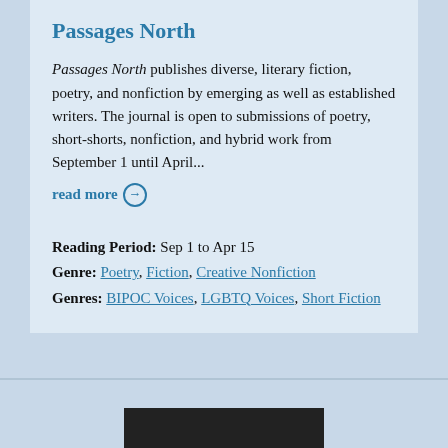Passages North
Passages North publishes diverse, literary fiction, poetry, and nonfiction by emerging as well as established writers. The journal is open to submissions of poetry, short-shorts, nonfiction, and hybrid work from September 1 until April...
read more →
Reading Period: Sep 1 to Apr 15
Genre: Poetry, Fiction, Creative Nonfiction
Genres: BIPOC Voices, LGBTQ Voices, Short Fiction